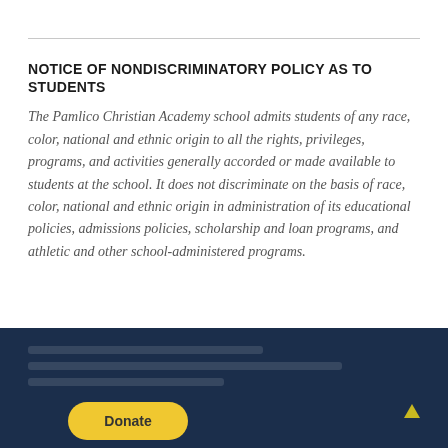NOTICE OF NONDISCRIMINATORY POLICY AS TO STUDENTS
The Pamlico Christian Academy school admits students of any race, color, national and ethnic origin to all the rights, privileges, programs, and activities generally accorded or made available to students at the school. It does not discriminate on the basis of race, color, national and ethnic origin in administration of its educational policies, admissions policies, scholarship and loan programs, and athletic and other school-administered programs.
Donate